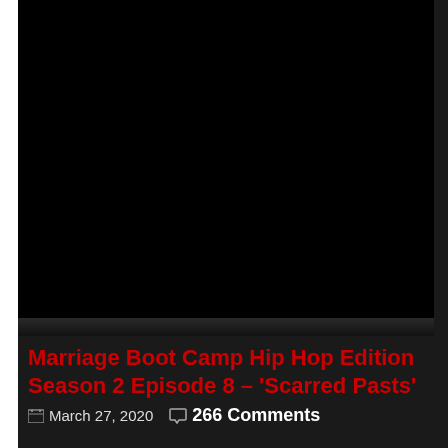[Figure (screenshot): Dark/black video thumbnail for Marriage Boot Camp Hip Hop Edition Season 2 Episode 8]
Marriage Boot Camp Hip Hop Edition Season 2 Episode 8 – 'Scarred Pasts'
March 27, 2020   266 Comments